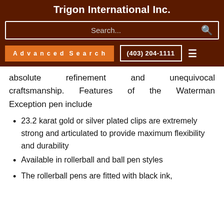Trigon International Inc.
absolute refinement and unequivocal craftsmanship. Features of the Waterman Exception pen include
23.2 karat gold or silver plated clips are extremely strong and articulated to provide maximum flexibility and durability
Available in rollerball and ball pen styles
The rollerball pens are fitted with black ink,